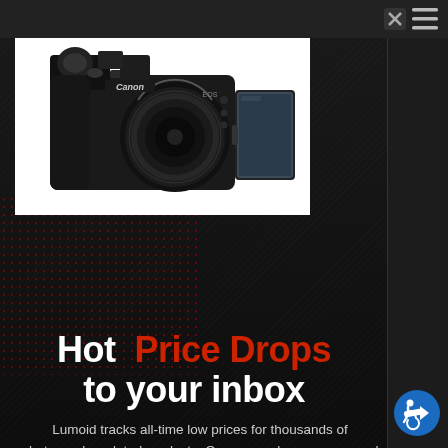[Figure (photo): Canon EOS DSLR camera with a tilting LCD screen and 18-55mm lens, shown on white background]
Hot Price Drops to your inbox
Lumoid tracks all-time low prices for thousands of photography-related products. Once a week, we curate and send you the best deals so you can save money on the hottest photography, drones, and accessories.